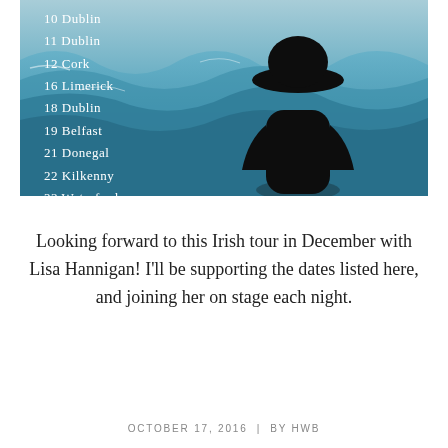[Figure (photo): A person in a wide-brimmed hat seen from behind, silhouetted against ocean waves. Tour date text overlaid on the left listing Irish cities: 10 Dublin, 11 Dublin, 12 Cork, 16 Limerick, 18 Dublin, 19 Belfast, 21 Donegal, 22 Kilkenny, 23 Waterford.]
Looking forward to this Irish tour in December with Lisa Hannigan! I'll be supporting the dates listed here, and joining her on stage each night.
OCTOBER 17, 2016  |  BY HWB